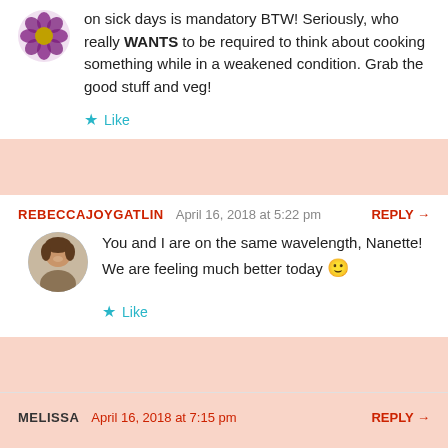on sick days is mandatory BTW! Seriously, who really WANTS to be required to think about cooking something while in a weakened condition. Grab the good stuff and veg!
★ Like
REBECCAJOYGATLIN  April 16, 2018 at 5:22 pm  REPLY →
You and I are on the same wavelength, Nanette! We are feeling much better today 🙂
★ Like
MELISSA  April 16, 2018 at 7:15 pm  REPLY →